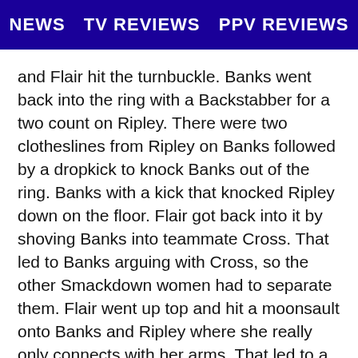NEWS   TV REVIEWS   PPV REVIEWS
and Flair hit the turnbuckle. Banks went back into the ring with a Backstabber for a two count on Ripley. There were two clotheslines from Ripley on Banks followed by a dropkick to knock Banks out of the ring. Banks with a kick that knocked Ripley down on the floor. Flair got back into it by shoving Banks into teammate Cross. That led to Banks arguing with Cross, so the other Smackdown women had to separate them. Flair went up top and hit a moonsault onto Banks and Ripley where she really only connects with her arms. That led to a break five minutes into the match.
(Commercial)
The match returned with Ripley getting a two count on Flair. Ripley worked over Banks against the